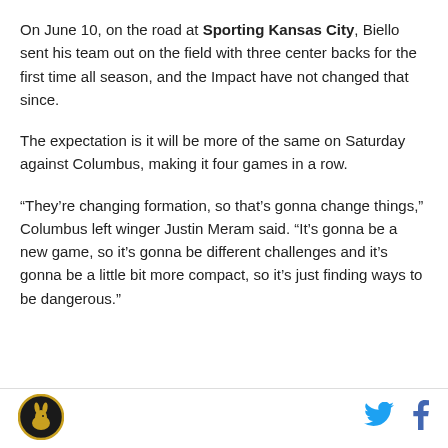On June 10, on the road at Sporting Kansas City, Biello sent his team out on the field with three center backs for the first time all season, and the Impact have not changed that since.
The expectation is it will be more of the same on Saturday against Columbus, making it four games in a row.
“They’re changing formation, so that’s gonna change things,” Columbus left winger Justin Meram said. “It’s gonna be a new game, so it’s gonna be different challenges and it’s gonna be a little bit more compact, so it’s just finding ways to be dangerous.”
[Figure (logo): Circular logo with golden rabbit/animal silhouette on dark background]